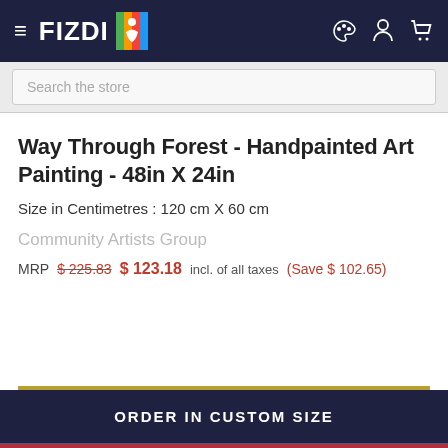FIZDI
Search the store
Way Through Forest - Handpainted Art Painting - 48in X 24in
Size in Centimetres : 120 cm X 60 cm
Community Artists Group
MRP $ 225.83  $ 123.18  incl. of all taxes  (Save $ 102.65)
ORDER IN CUSTOM SIZE
ADD TO CART